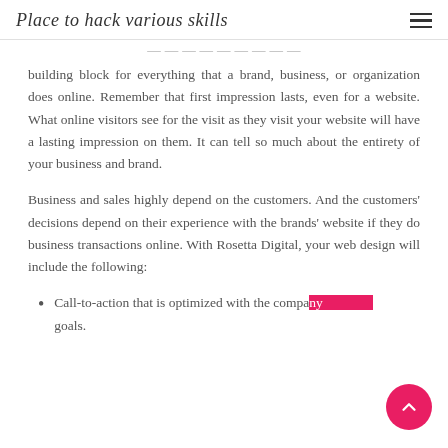Place to hack various skills
building block for everything that a brand, business, or organization does online. Remember that first impression lasts, even for a website. What online visitors see for the visit as they visit your website will have a lasting impression on them. It can tell so much about the entirety of your business and brand.
Business and sales highly depend on the customers. And the customers' decisions depend on their experience with the brands' website if they do business transactions online. With Rosetta Digital, your web design will include the following:
Call-to-action that is optimized with the company goals.